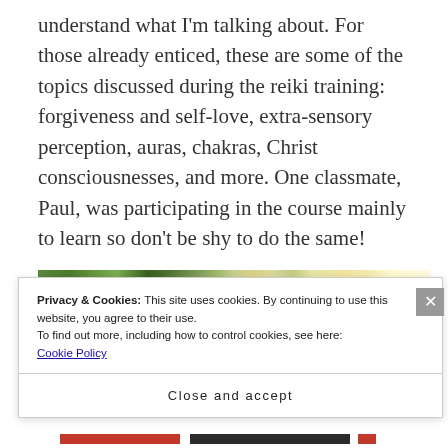understand what I'm talking about. For those already enticed, these are some of the topics discussed during the reiki training: forgiveness and self-love, extra-sensory perception, auras, chakras, Christ consciousnesses, and more. One classmate, Paul, was participating in the course mainly to learn so don't be shy to do the same!
[Figure (photo): Outdoor photo strip showing trees with sunlight flare, greenery and sky visible]
Privacy & Cookies: This site uses cookies. By continuing to use this website, you agree to their use.
To find out more, including how to control cookies, see here:
Cookie Policy
Close and accept